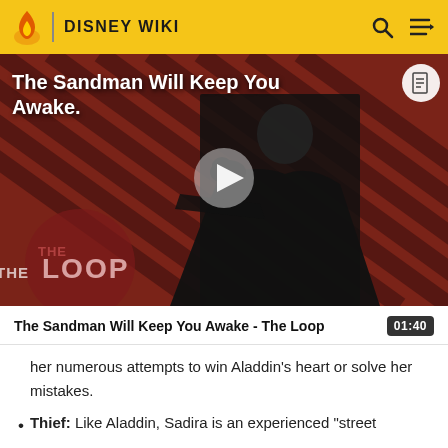DISNEY WIKI
[Figure (screenshot): Video thumbnail showing a dark-cloaked figure with a crow, against a red diagonal-striped background, with 'THE LOOP' watermark and a play button overlay. Title reads 'The Sandman Will Keep You Awake.']
The Sandman Will Keep You Awake - The Loop
her numerous attempts to win Aladdin's heart or solve her mistakes.
Thief: Like Aladdin, Sadira is an experienced "street